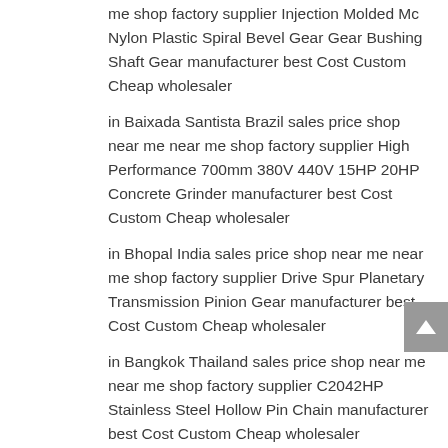me shop factory supplier Injection Molded Mc Nylon Plastic Spiral Bevel Gear Gear Bushing Shaft Gear manufacturer best Cost Custom Cheap wholesaler
in Baixada Santista Brazil sales price shop near me near me shop factory supplier High Performance 700mm 380V 440V 15HP 20HP Concrete Grinder manufacturer best Cost Custom Cheap wholesaler
in Bhopal India sales price shop near me near me shop factory supplier Drive Spur Planetary Transmission Pinion Gear manufacturer best Cost Custom Cheap wholesaler
in Bangkok Thailand sales price shop near me near me shop factory supplier C2042HP Stainless Steel Hollow Pin Chain manufacturer best Cost Custom Cheap wholesaler
in Cuiaba Brazil
in Monrovia Liberia sales price shop near me near me shop factory supplier Double-End DI-D